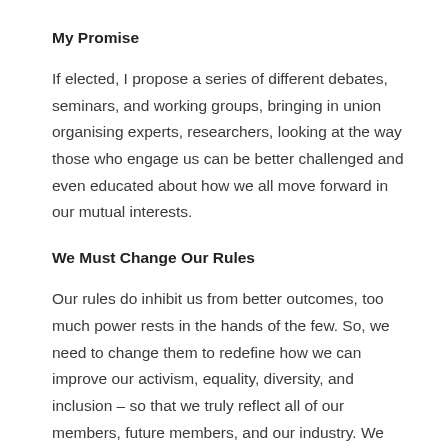My Promise
If elected, I propose a series of different debates, seminars, and working groups, bringing in union organising experts, researchers, looking at the way those who engage us can be better challenged and even educated about how we all move forward in our mutual interests.
We Must Change Our Rules
Our rules do inhibit us from better outcomes, too much power rests in the hands of the few. So, we need to change them to redefine how we can improve our activism, equality, diversity, and inclusion – so that we truly reflect all of our members, future members, and our industry. We must do this to attract new members